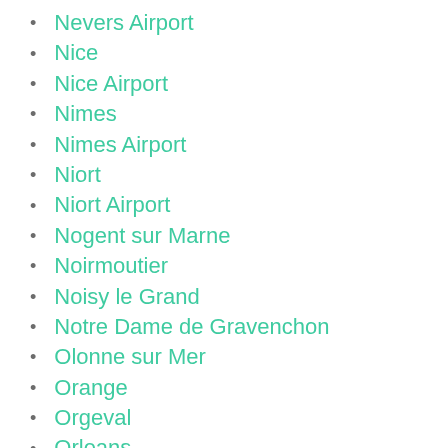Nevers Airport
Nice
Nice Airport
Nimes
Nimes Airport
Niort
Niort Airport
Nogent sur Marne
Noirmoutier
Noisy le Grand
Notre Dame de Gravenchon
Olonne sur Mer
Orange
Orgeval
Orleans
Orleans Airport
Oss...